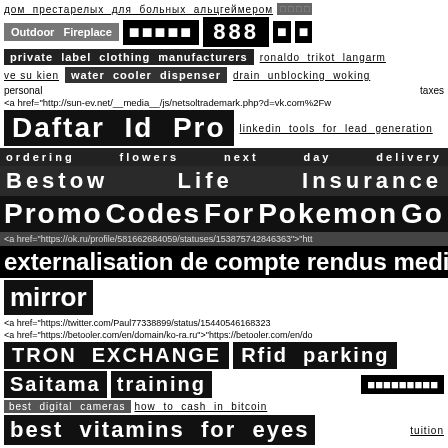дом престарелых для больных альцгеймером
Outdoor Fireplace 888
private label clothing manufacturers ronaldo trikot langarm
ve su kien water cooler dispenser drain unblocking woking
personal taxes
<a href="http://sun-ev.net/__media__/js/netsoltrademark.php?d=vk.com%2Fw
Daftar Id Pro linkedin tools for lead generation
ordering flowers next day delivery
Bestow Life Insurance
Promo Codes For Pokemon Go
<a href="https://ok.ru/profile/581662684059/statuses/153875742846363">"htt
externalisation de compte rendus medi
mirror
<a href="https://twitter.com/Paul77338899/status/15440546168323
<a href="https://betooler.com/en/domain/ko-ra.ru">"https://betooler.com/en/do
TRON EXCHANGE Rfid parking
Saitama training
best digital cameras how to cash in bitcoin
best vitamins for eyes tuition